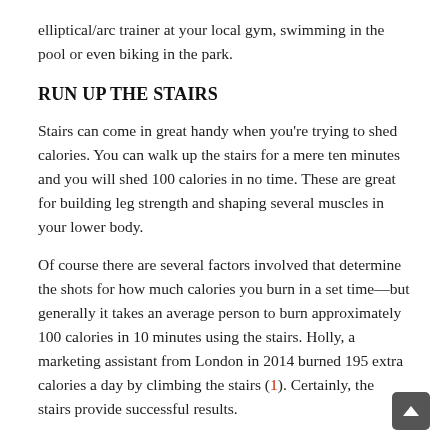elliptical/arc trainer at your local gym, swimming in the pool or even biking in the park.
RUN UP THE STAIRS
Stairs can come in great handy when you're trying to shed calories. You can walk up the stairs for a mere ten minutes and you will shed 100 calories in no time. These are great for building leg strength and shaping several muscles in your lower body.
Of course there are several factors involved that determine the shots for how much calories you burn in a set time—but generally it takes an average person to burn approximately 100 calories in 10 minutes using the stairs. Holly, a marketing assistant from London in 2014 burned 195 extra calories a day by climbing the stairs (1). Certainly, the stairs provide successful results.